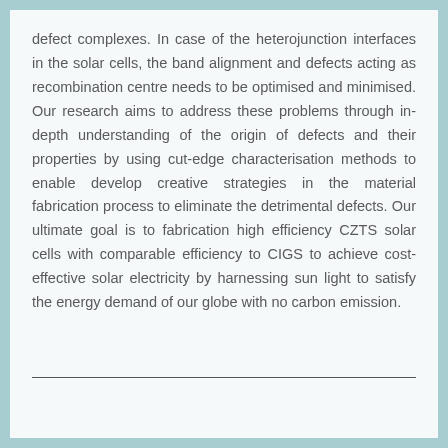defect complexes. In case of the heterojunction interfaces in the solar cells, the band alignment and defects acting as recombination centre needs to be optimised and minimised. Our research aims to address these problems through in-depth understanding of the origin of defects and their properties by using cut-edge characterisation methods to enable develop creative strategies in the material fabrication process to eliminate the detrimental defects. Our ultimate goal is to fabrication high efficiency CZTS solar cells with comparable efficiency to CIGS to achieve cost-effective solar electricity by harnessing sun light to satisfy the energy demand of our globe with no carbon emission.